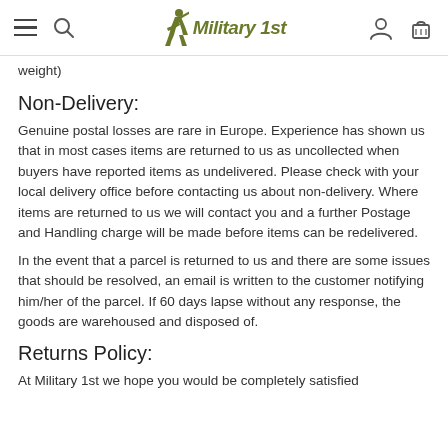Military 1st (navigation header with hamburger menu, search, logo, account, and cart icons)
weight)
Non-Delivery:
Genuine postal losses are rare in Europe. Experience has shown us that in most cases items are returned to us as uncollected when buyers have reported items as undelivered. Please check with your local delivery office before contacting us about non-delivery. Where items are returned to us we will contact you and a further Postage and Handling charge will be made before items can be redelivered.
In the event that a parcel is returned to us and there are some issues that should be resolved, an email is written to the customer notifying him/her of the parcel. If 60 days lapse without any response, the goods are warehoused and disposed of.
Returns Policy:
At Military 1st we hope you would be completely satisfied